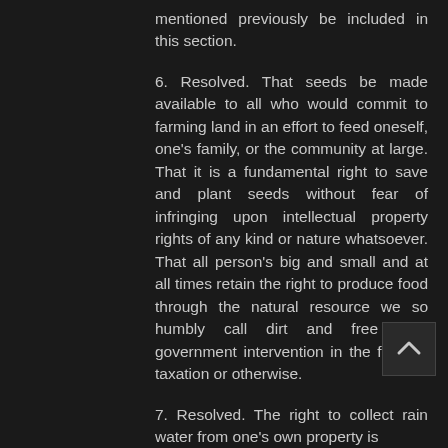mentioned previously be included in this section.
6. Resolved. That seeds be made available to all who would commit to farming land in an effort to feed oneself, one's family, or the community at large. That it is a fundamental right to save and plant seeds without fear of infringing upon intellectual property rights of any kind or nature whatsoever. That all person's big and small and at all times retain the right to produce food through the natural resource we so humbly call dirt and free from government intervention in the form of taxation or otherwise.
7. Resolved. The right to collect rain water from one's own property is